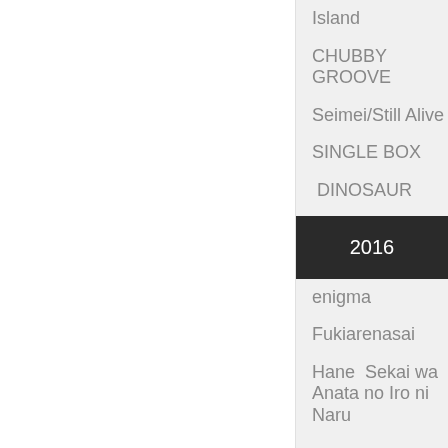Island
CHUBBY GROOVE
Seimei/Still Alive
SINGLE BOX
DINOSAUR
2016
enigma
Fukiarenasai
Hane  Sekai wa Anata no Iro ni Naru